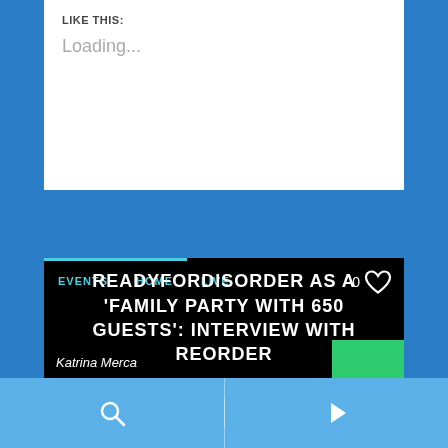LIKE THIS:
Loading...
EVENTS   HOME   LIVE   0
READYFORDISORDER AS A 'FAMILY PARTY WITH 650 GUESTS': INTERVIEW WITH REORDER
Katrina Merca